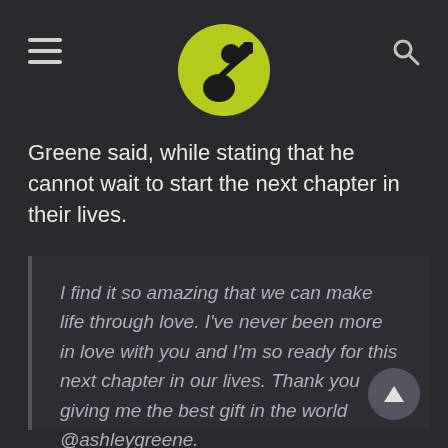[Figure (logo): Yellow-green circle with a black silhouette of a person drinking/flexing, used as a website logo]
Greene said, while stating that he cannot wait to start the next chapter in their lives.
I find it so amazing that we can make life through love. I've never been more in love with you and I'm so ready for this next chapter in our lives. Thank you giving me the best gift in the world @ashleygreene.